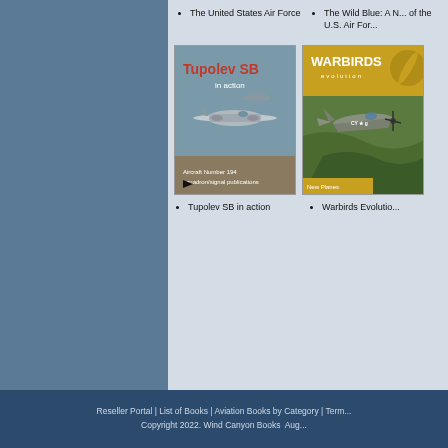The United States Air Force
The Wild Blue: A N... of the U.S. Air For...
[Figure (photo): Book cover: Tupolev SB in action, Aircraft Number 194, squadron/signal publications. Shows Soviet bomber aircraft in flight.]
[Figure (photo): Book cover: Warbirds Evolution. Shows a WWII fighter aircraft (P-51 Mustang with CY markings) in flight over green landscape.]
Tupolev SB in action
Warbirds Evolutio...
Reseller Portal | List of Books | Aviation Books by Category | Term... Copyright 2022. Wind Canyon Books Aug...